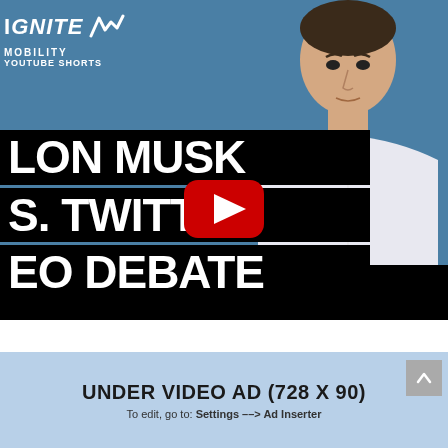[Figure (screenshot): YouTube video thumbnail showing a man in a white shirt on a blue background with text overlays reading 'ELON MUSK VS. TWITTER CEO DEBATE' in white on black bars, a YouTube play button in the center, and a logo 'IGNITE MOBILITY' with YouTube Shorts branding in the top-left corner. The bottom portion of the video is a black bar.]
UNDER VIDEO AD (728 X 90)
To edit, go to: Settings --> Ad Inserter